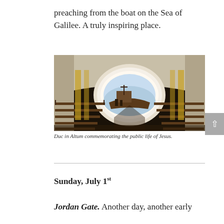preaching from the boat on the Sea of Galilee. A truly inspiring place.
[Figure (photo): Interior of Duc in Altum church showing wooden pews, arched ceiling, and a large arch window revealing a wooden boat sculpture and the Sea of Galilee beyond]
Duc in Altum commemorating the public life of Jesus.
Sunday, July 1st
Jordan Gate. Another day, another early